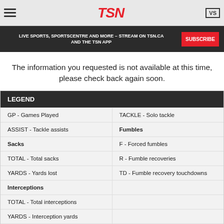TSN
LIVE SPORTS, SPORTSCENTRE AND MORE – STREAM ON TSN.CA AND THE TSN APP  SUBSCRIBE
The information you requested is not available at this time, please check back again soon.
| LEGEND |  |
| --- | --- |
| GP - Games Played | TACKLE - Solo tackle |
| ASSIST - Tackle assists | Fumbles |
| Sacks | F - Forced fumbles |
| TOTAL - Total sacks | R - Fumble recoveries |
| YARDS - Yards lost | TD - Fumble recovery touchdowns |
| Interceptions |  |
| TOTAL - Total interceptions |  |
| YARDS - Interception yards |  |
| TD - Interception touchdowns |  |